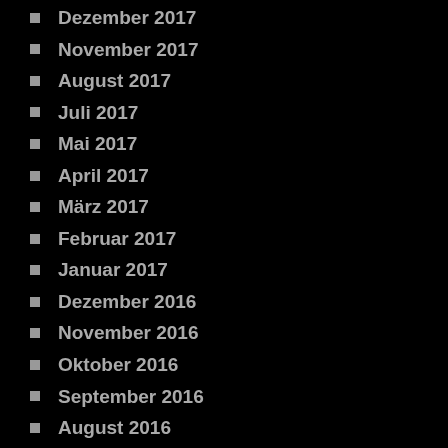Dezember 2017
November 2017
August 2017
Juli 2017
Mai 2017
April 2017
März 2017
Februar 2017
Januar 2017
Dezember 2016
November 2016
Oktober 2016
September 2016
August 2016
Juli 2016
Mai 2016
April 2016
März 2016
Februar 2016
Januar 2016
Dezember 2015
November 2015